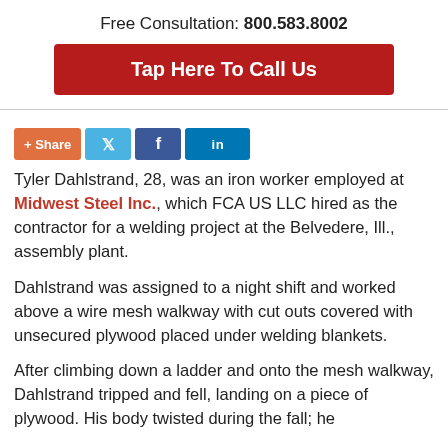Free Consultation: 800.583.8002
Tap Here To Call Us
[Figure (infographic): Social share buttons: +Share, Twitter, Facebook, LinkedIn]
Tyler Dahlstrand, 28, was an iron worker employed at Midwest Steel Inc., which FCA US LLC hired as the contractor for a welding project at the Belvedere, Ill., assembly plant.
Dahlstrand was assigned to a night shift and worked above a wire mesh walkway with cut outs covered with unsecured plywood placed under welding blankets.
After climbing down a ladder and onto the mesh walkway, Dahlstrand tripped and fell, landing on a piece of plywood. His body twisted during the fall; he